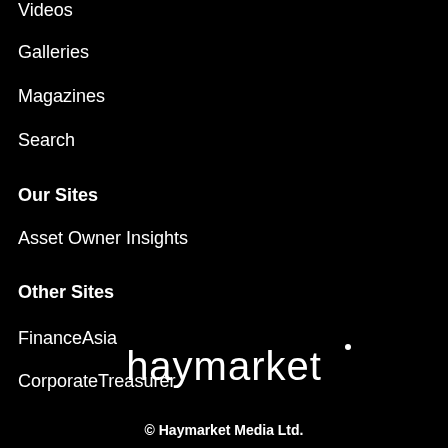Webinars
Videos
Galleries
Magazines
Search
Our Sites
Asset Owner Insights
Other Sites
FinanceAsia
CorporateTreasurer
[Figure (logo): Haymarket logo in white text on black background]
© Haymarket Media Ltd.